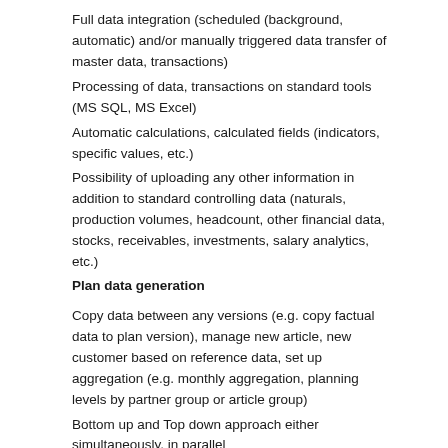Full data integration (scheduled (background, automatic) and/or manually triggered data transfer of master data, transactions)
Processing of data, transactions on standard tools (MS SQL, MS Excel)
Automatic calculations, calculated fields (indicators, specific values, etc.)
Possibility of uploading any other information in addition to standard controlling data (naturals, production volumes, headcount, other financial data, stocks, receivables, investments, salary analytics, etc.)
Plan data generation
Copy data between any versions (e.g. copy factual data to plan version), manage new article, new customer based on reference data, set up aggregation (e.g. monthly aggregation, planning levels by partner group or article group)
Bottom up and Top down approach either simultaneously, in parallel
Information flow management (aggregated relevant data input)
the system takes the information that is available and aggregates it